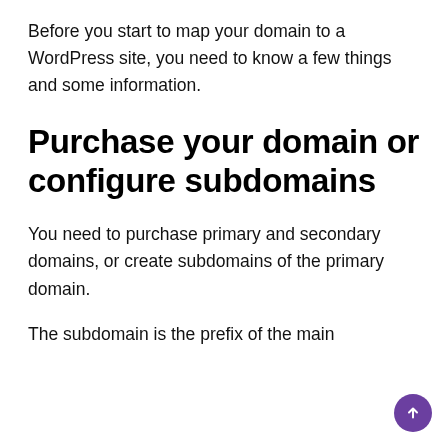Before you start to map your domain to a WordPress site, you need to know a few things and some information.
Purchase your domain or configure subdomains
You need to purchase primary and secondary domains, or create subdomains of the primary domain.
The subdomain is the prefix of the main